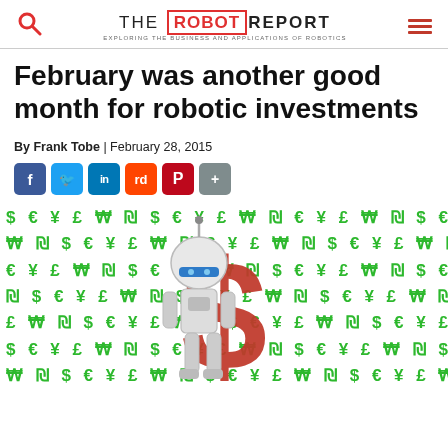THE ROBOT REPORT — EXPLORING THE BUSINESS AND APPLICATIONS OF ROBOTICS
February was another good month for robotic investments
By Frank Tobe | February 28, 2015
[Figure (illustration): Robot character standing next to a large red dollar sign, against a green currency symbols background ($ € ¥ £ ₩ ₪ repeated pattern)]